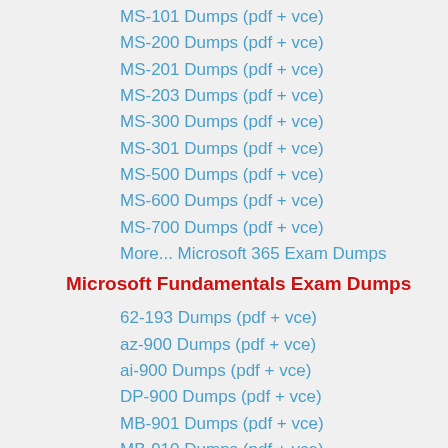MS-101 Dumps (pdf + vce)
MS-200 Dumps (pdf + vce)
MS-201 Dumps (pdf + vce)
MS-203 Dumps (pdf + vce)
MS-300 Dumps (pdf + vce)
MS-301 Dumps (pdf + vce)
MS-500 Dumps (pdf + vce)
MS-600 Dumps (pdf + vce)
MS-700 Dumps (pdf + vce)
More... Microsoft 365 Exam Dumps
Microsoft Fundamentals Exam Dumps
62-193 Dumps (pdf + vce)
az-900 Dumps (pdf + vce)
ai-900 Dumps (pdf + vce)
DP-900 Dumps (pdf + vce)
MB-901 Dumps (pdf + vce)
MB-910 Dumps (pdf + vce)
MB-920 Dumps (pdf + vce)